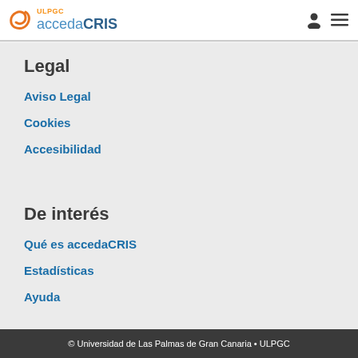ULPGC accedaCRIS
Legal
Aviso Legal
Cookies
Accesibilidad
De interés
Qué es accedaCRIS
Estadísticas
Ayuda
© Universidad de Las Palmas de Gran Canaria • ULPGC